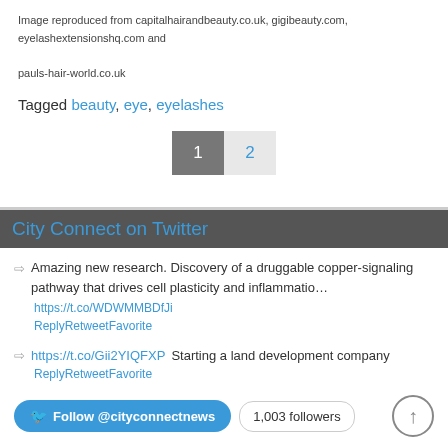Image reproduced from capitalhairandbeauty.co.uk, gigibeauty.com, eyelashextensionshq.com and pauls-hair-world.co.uk
Tagged beauty, eye, eyelashes
1  2
City Connect on Twitter
Amazing new research. Discovery of a druggable copper-signaling pathway that drives cell plasticity and inflammatio… https://t.co/WDWMMBDfJi ReplyRetweetFavorite
https://t.co/Gii2YIQFXP Starting a land development company ReplyRetweetFavorite
Follow @cityconnectnews  1,003 followers